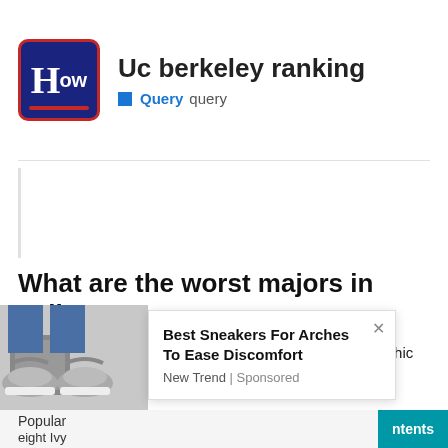[Figure (logo): HOW logo - dark blue rounded rectangle with red border and red underline, showing H-ow text in white]
Uc berkeley ranking
Query  query
What are the worst majors in college?
Photography Art Radio and television Anthropology Graphic design Legal assistant Art history Music Sports research
[Figure (photo): Photo of person's legs and feet wearing gray sneakers]
Best Sneakers For Arches To Ease Discomfort
New Trend | Sponsored
Popular
eight Ivy
ntents